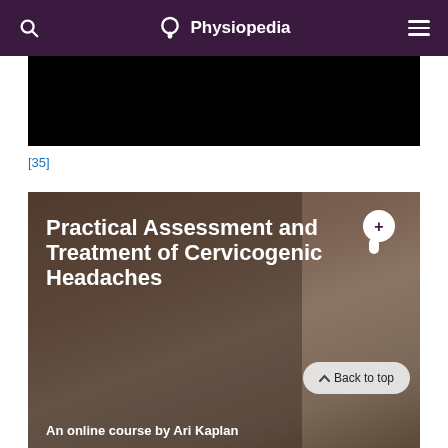Physiopedia
[Figure (screenshot): Black video player area]
[35]
[Figure (photo): Course card image with two people, one performing cervical assessment on the other. Contains Physiopedia Plus logo, course title 'Practical Assessment and Treatment of Cervicogenic Headaches', and partial subtitle 'An online course by Ari Kaplan'. A 'Back to top' button is visible in the lower right.]
Practical Assessment and Treatment of Cervicogenic Headaches
An online course by Ari Kaplan